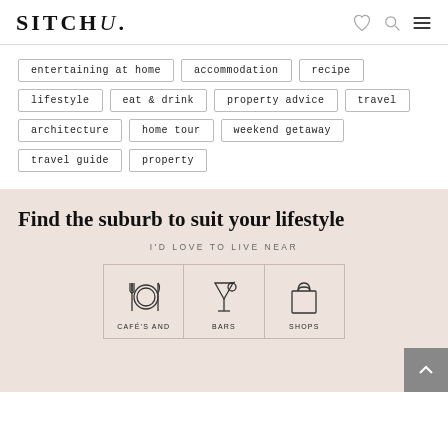SITCHU.
entertaining at home
accommodation
recipe
lifestyle
eat & drink
property advice
travel
architecture
home tour
weekend getaway
travel guide
property
Find the suburb to suit your lifestyle
I'D LOVE TO LIVE NEAR
[Figure (infographic): Three category cards showing icons for CAFÉ'S AND (plate/cutlery), BARS (martini glass), and SHOPS (shopping bag)]